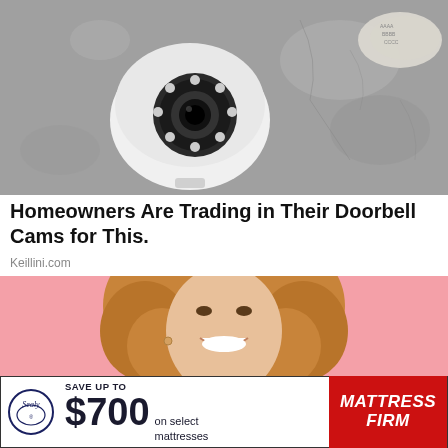[Figure (photo): Overhead photo of a white dome security camera placed on a gray concrete surface, with a shoe visible in the upper right corner.]
Homeowners Are Trading in Their Doorbell Cams for This.
Keillini.com
[Figure (photo): Photo of a smiling young woman with curly hair against a pink background.]
[Figure (infographic): Advertisement banner: Sealy logo on left. Text reads SAVE UP TO $700 on select mattresses. Mattress Firm logo on right in red box.]